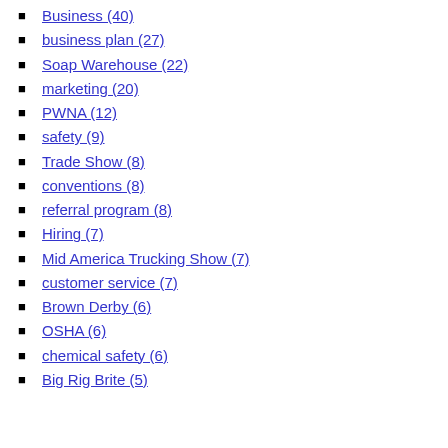Business (40)
business plan (27)
Soap Warehouse (22)
marketing (20)
PWNA (12)
safety (9)
Trade Show (8)
conventions (8)
referral program (8)
Hiring (7)
Mid America Trucking Show (7)
customer service (7)
Brown Derby (6)
OSHA (6)
chemical safety (6)
Big Rig Brite (5)